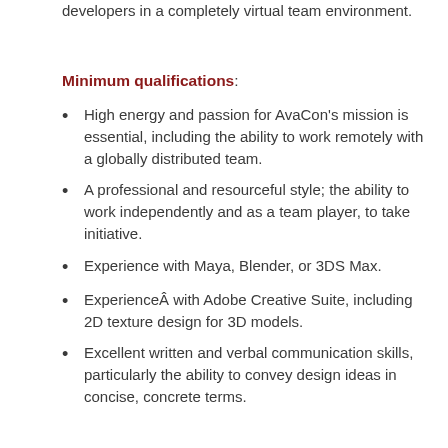developers in a completely virtual team environment.
Minimum qualifications:
High energy and passion for AvaCon's mission is essential, including the ability to work remotely with a globally distributed team.
A professional and resourceful style; the ability to work independently and as a team player, to take initiative.
Experience with Maya, Blender, or 3DS Max.
ExperienceÂ with Adobe Creative Suite, including 2D texture design for 3D models.
Excellent written and verbal communication skills, particularly the ability to convey design ideas in concise, concrete terms.